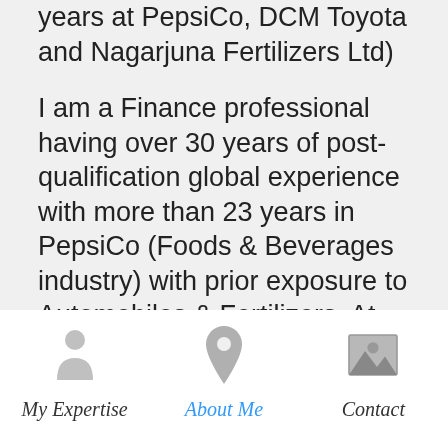years at PepsiCo, DCM Toyota and Nagarjuna Fertilizers Ltd)
I am a Finance professional having over 30 years of post-qualification global experience with more than 23 years in PepsiCo (Foods & Beverages industry) with prior exposure to Automobiles & Fertilizers. At PepsiCo, I have implemented measures leading to top line growth and bottom line improvement across businesses in Asia. I am deft at partnering with businesses and
My Expertise   About Me   Contact